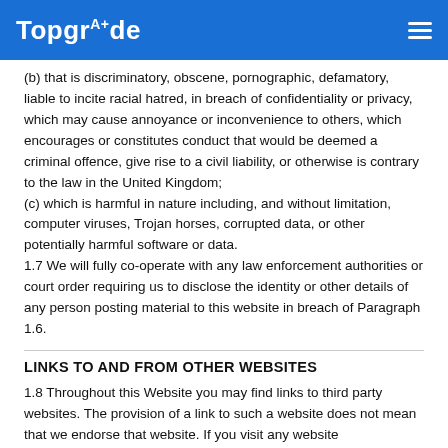TopgrAde
(b) that is discriminatory, obscene, pornographic, defamatory, liable to incite racial hatred, in breach of confidentiality or privacy, which may cause annoyance or inconvenience to others, which encourages or constitutes conduct that would be deemed a criminal offence, give rise to a civil liability, or otherwise is contrary to the law in the United Kingdom;
(c) which is harmful in nature including, and without limitation, computer viruses, Trojan horses, corrupted data, or other potentially harmful software or data.
1.7 We will fully co-operate with any law enforcement authorities or court order requiring us to disclose the identity or other details of any person posting material to this website in breach of Paragraph 1.6.
LINKS TO AND FROM OTHER WEBSITES
1.8 Throughout this Website you may find links to third party websites. The provision of a link to such a website does not mean that we endorse that website. If you visit any website